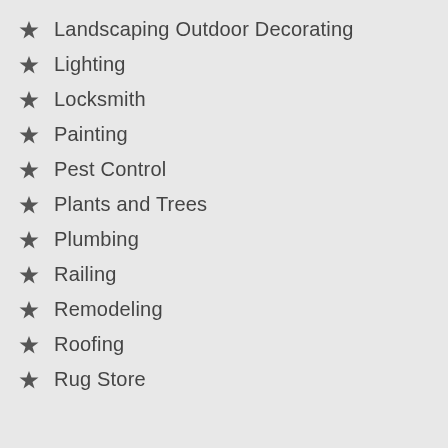Landscaping Outdoor Decorating
Lighting
Locksmith
Painting
Pest Control
Plants and Trees
Plumbing
Railing
Remodeling
Roofing
Rug Store